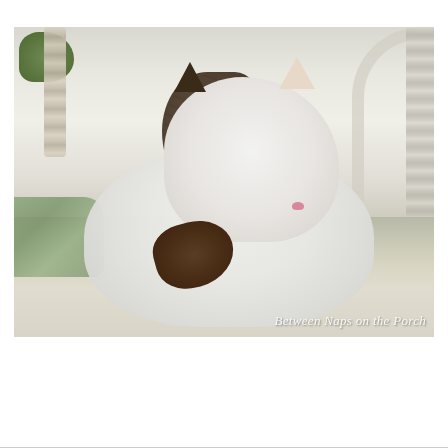[Figure (photo): A white and brown tabby cat lounging on a cushioned wicker porch chair or swing. The cat looks directly at the camera from a low angle. The cat has a distinctive half-dark, half-white face with tabby markings on the left side. A dark brown paw is stretched out in front. The background shows a bright white porch exterior with arch-shaped wicker framing and green foliage visible in the upper left. The cushion has sage green stripes. A watermark reads 'Between Naps on the Porch' in the lower right corner.]